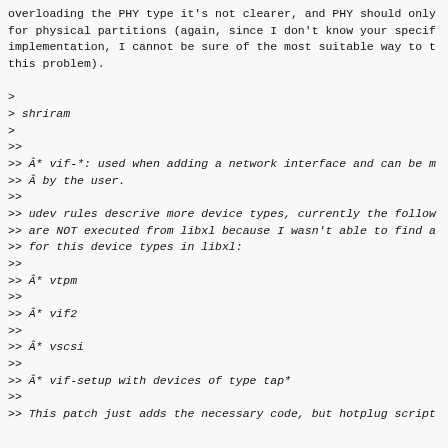overloading the PHY type it's not clearer, and PHY should only
for physical partitions (again, since I don't know your specif
implementation, I cannot be sure of the most suitable way to t
this problem).
>
> shriram
>
>>
>> Â* vif-*: used when adding a network interface and can be m
>> Â by the user.
>>
>> udev rules descrive more device types, currently the follow
>> are NOT executed from libxl because I wasn't able to find a
>> for this device types in libxl:
>>
>> Â* vtpm
>>
>> Â* vif2
>>
>> Â* vscsi
>>
>> Â* vif-setup with devices of type tap*
>>
>> This patch just adds the necessary code, but hotplug script